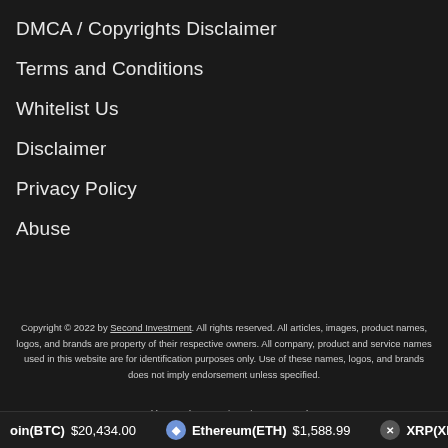DMCA / Copyrights Disclaimer
Terms and Conditions
Whitelist Us
Disclaimer
Privacy Policy
Abuse
Copyright © 2022 by Second Investment. All rights reserved. All articles, images, product names, logos, and brands are property of their respective owners. All company, product and service names used in this website are for identification purposes only. Use of these names, logos, and brands does not imply endorsement unless specified.
Powered by WordPress using DisruptPress Theme.
oin(BTC) $20,434.00 Ethereum(ETH) $1,588.99 XRP(XRP)